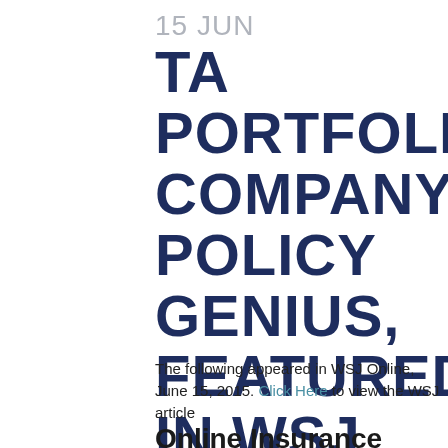15 JUN TA PORTFOLIO COMPANY, POLICY GENIUS, FEATURED IN WSJ ONLINE
The following appeared in WSJ Online, June 15, 2015. Click Here to view the WSJ article
Online Insurance